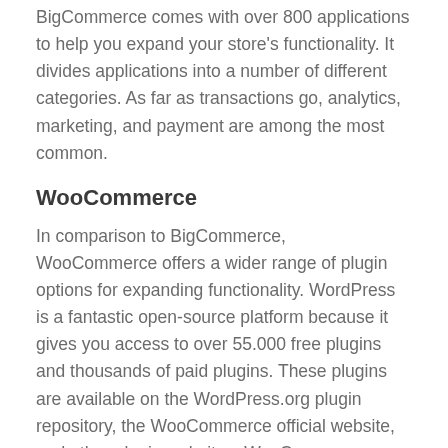BigCommerce comes with over 800 applications to help you expand your store's functionality. It divides applications into a number of different categories. As far as transactions go, analytics, marketing, and payment are among the most common.
WooCommerce
In comparison to BigCommerce, WooCommerce offers a wider range of plugin options for expanding functionality. WordPress is a fantastic open-source platform because it gives you access to over 55.000 free plugins and thousands of paid plugins. These plugins are available on the WordPress.org plugin repository, the WooCommerce official website, and other plugin websites. WooCommerce plugins are available in a variety of categories, including Store